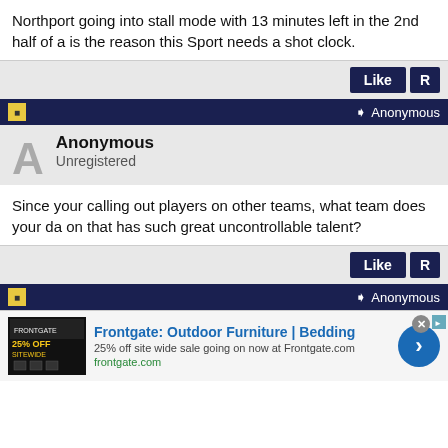Northport going into stall mode with 13 minutes left in the 2nd half of a is the reason this Sport needs a shot clock.
Like  R
Anonymous
Anonymous
Unregistered
Since your calling out players on other teams, what team does your da on that has such great uncontrollable talent?
Like  R
Anonymous
Frontgate: Outdoor Furniture | Bedding
25% off site wide sale going on now at Frontgate.com
frontgate.com